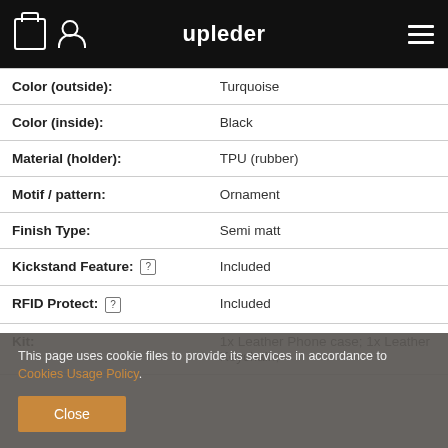upleder
| Color (outside): | Turquoise |
| Color (inside): | Black |
| Material (holder): | TPU (rubber) |
| Motif / pattern: | Ornament |
| Finish Type: | Semi matt |
| Kickstand Feature: [?] | Included |
| RFID Protect: [?] | Included |
| Kit: | 1x Leather Phone case; 1x Leather Keychain; |
This page uses cookie files to provide its services in accordance to Cookies Usage Policy.
Close